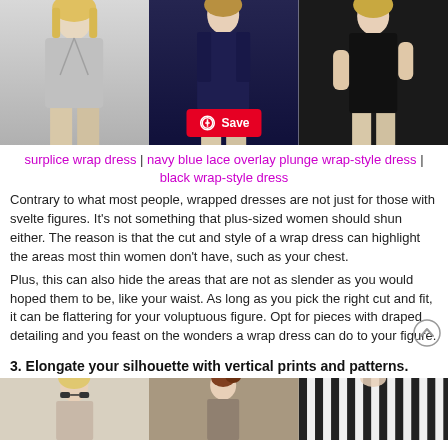[Figure (photo): Three women wearing wrap dresses: gray surplice wrap dress, navy blue lace overlay plunge wrap-style dress, and black wrap-style dress. A Pinterest Save button overlay appears at the bottom center.]
surplice wrap dress | navy blue lace overlay plunge wrap-style dress | black wrap-style dress
Contrary to what most people, wrapped dresses are not just for those with svelte figures. It's not something that plus-sized women should shun either. The reason is that the cut and style of a wrap dress can highlight the areas most thin women don't have, such as your chest.
Plus, this can also hide the areas that are not as slender as you would hoped them to be, like your waist. As long as you pick the right cut and fit, it can be flattering for your voluptuous figure. Opt for pieces with draped detailing and you feast on the wonders a wrap dress can do to your figure.
3. Elongate your silhouette with vertical prints and patterns.
[Figure (photo): Three women in outfits featuring vertical prints and patterns, including striped clothing.]